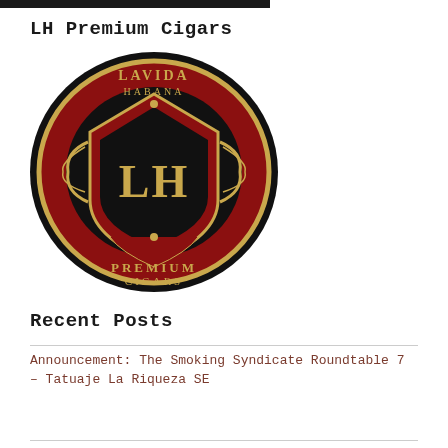[Figure (logo): Partial dark image strip at top of page]
LH Premium Cigars
[Figure (logo): La Vida Habana LH Premium Cigars circular logo with ornate red, black and gold design]
Recent Posts
Announcement: The Smoking Syndicate Roundtable 7 – Tatuaje La Riqueza SE